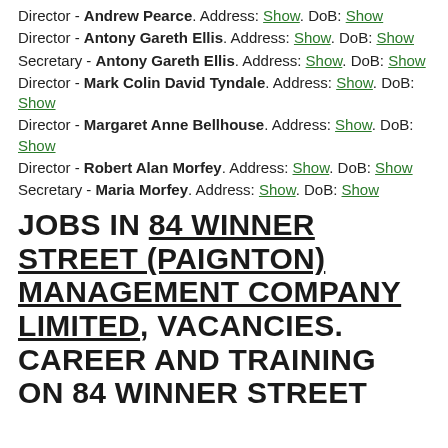Director - Andrew Pearce. Address: Show. DoB: Show
Director - Antony Gareth Ellis. Address: Show. DoB: Show
Secretary - Antony Gareth Ellis. Address: Show. DoB: Show
Director - Mark Colin David Tyndale. Address: Show. DoB: Show
Director - Margaret Anne Bellhouse. Address: Show. DoB: Show
Director - Robert Alan Morfey. Address: Show. DoB: Show
Secretary - Maria Morfey. Address: Show. DoB: Show
JOBS IN 84 WINNER STREET (PAIGNTON) MANAGEMENT COMPANY LIMITED, VACANCIES. CAREER AND TRAINING ON 84 WINNER STREET